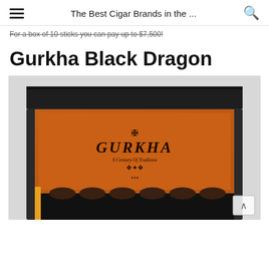The Best Cigar Brands in the ...
For a box of 10 sticks you can pay up to $7,500!
Gurkha Black Dragon
[Figure (photo): Opened Gurkha cigar box with orange interior lining and Gurkha brand logo printed inside the lid, with dark exterior and cigars visible at the bottom]